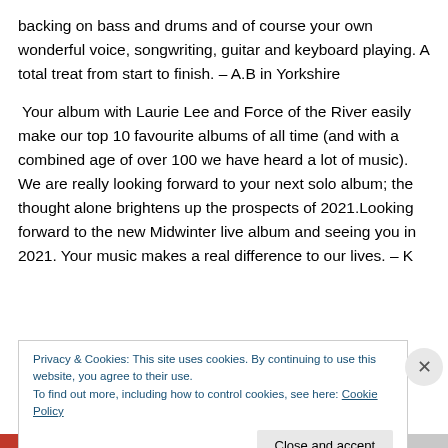backing on bass and drums and of course your own wonderful voice, songwriting, guitar and keyboard playing. A total treat from start to finish. – A.B in Yorkshire
Your album with Laurie Lee and Force of the River easily make our top 10 favourite albums of all time (and with a combined age of over 100 we have heard a lot of music). We are really looking forward to your next solo album; the thought alone brightens up the prospects of 2021.Looking forward to the new Midwinter live album and seeing you in 2021. Your music makes a real difference to our lives. – K
Privacy & Cookies: This site uses cookies. By continuing to use this website, you agree to their use. To find out more, including how to control cookies, see here: Cookie Policy